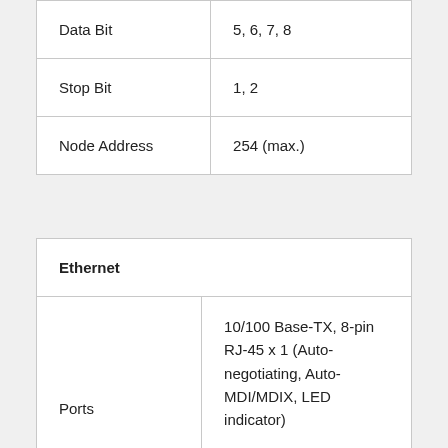| Data Bit | 5, 6, 7, 8 |
| Stop Bit | 1, 2 |
| Node Address | 254 (max.) |
| Ethernet |  |
| --- | --- |
| Ports | 10/100 Base-TX, 8-pin RJ-45 x 1 (Auto-negotiating, Auto-MDI/MDIX, LED indicator)
PoE (IEEE 802.3af, Class 1) |